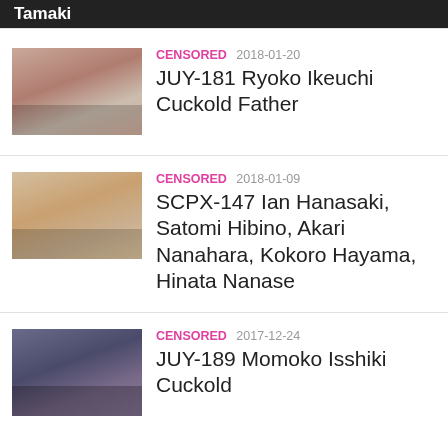Tamaki
[Figure (photo): Thumbnail image for JUY-181 entry]
CENSORED 2018-01-20
JUY-181 Ryoko Ikeuchi Cuckold Father
[Figure (photo): Thumbnail image for SCPX-147 entry]
CENSORED 2018-01-09
SCPX-147 Ian Hanasaki, Satomi Hibino, Akari Nanahara, Kokoro Hayama, Hinata Nanase
[Figure (photo): Thumbnail image for JUY-189 entry]
CENSORED 2017-12-24
JUY-189 Momoko Isshiki Cuckold